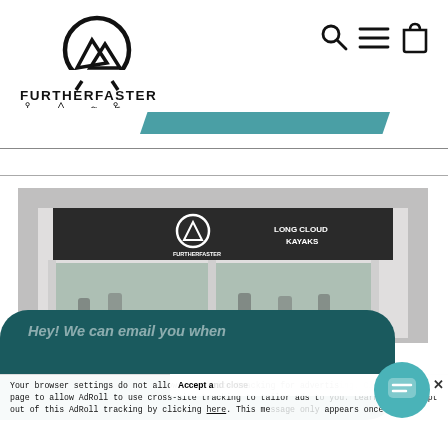[Figure (logo): FurtherFaster logo with mountain/arc icon and activity icons (hiker, mountain, dog, fishing)]
[Figure (screenshot): Store front photo showing FurtherFaster and Long Cloud Kayaks signage]
Hey! We can email you when
Your browser settings do not allow cross-site tracking for advertising. Click on this page to allow AdRoll to use cross-site tracking to tailor ads to you. Learn more or opt out of this AdRoll tracking by clicking here. This message only appears once.